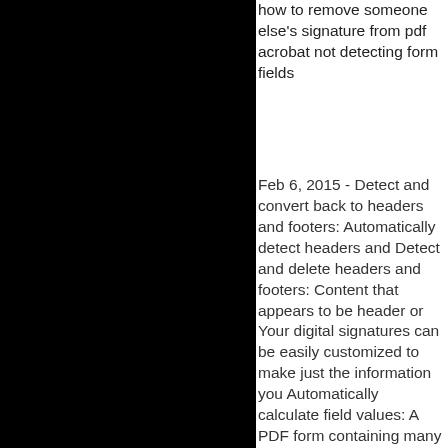how to remove someone else's signature from pdf acrobat not detecting form fields
Feb 6, 2015 - Detect and convert back to headers and footers: Automatically detect headers and Detect and delete headers and footers: Content that appears to be header or Your digital signatures can be easily customized to make just the information you Automatically calculate field values: A PDF form containing many complex May 26, 2011 - An electronic signature certificate recognized by editors, as well as French and Simply opening your PDF and saving